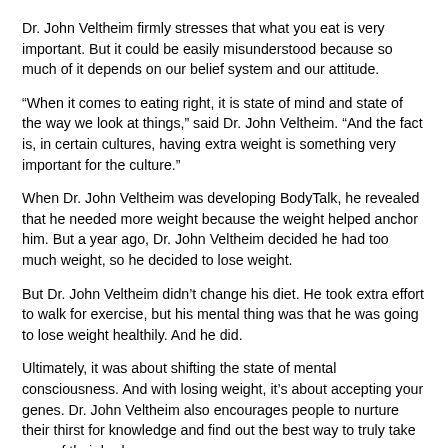Dr. John Veltheim firmly stresses that what you eat is very important. But it could be easily misunderstood because so much of it depends on our belief system and our attitude.
“When it comes to eating right, it is state of mind and state of the way we look at things,” said Dr. John Veltheim. “And the fact is, in certain cultures, having extra weight is something very important for the culture.”
When Dr. John Veltheim was developing BodyTalk, he revealed that he needed more weight because the weight helped anchor him. But a year ago, Dr. John Veltheim decided he had too much weight, so he decided to lose weight.
But Dr. John Veltheim didn’t change his diet. He took extra effort to walk for exercise, but his mental thing was that he was going to lose weight healthily. And he did.
Ultimately, it was about shifting the state of mental consciousness. And with losing weight, it’s about accepting your genes. Dr. John Veltheim also encourages people to nurture their thirst for knowledge and find out the best way to truly take care of their body.
“I’d like to educate people that there are some things I do would be better handled with natural therapy. It will be less traumatic to the patient and faster,” Dr. John Veltheim said.